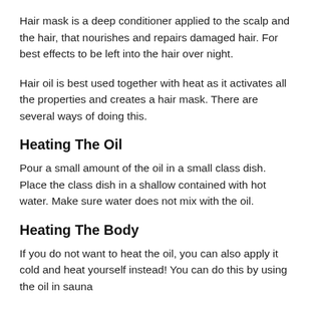Hair mask is a deep conditioner applied to the scalp and the hair, that nourishes and repairs damaged hair. For best effects to be left into the hair over night.
Hair oil is best used together with heat as it activates all the properties and creates a hair mask. There are several ways of doing this.
Heating The Oil
Pour a small amount of the oil in a small class dish. Place the class dish in a shallow contained with hot water. Make sure water does not mix with the oil.
Heating The Body
If you do not want to heat the oil, you can also apply it cold and heat yourself instead! You can do this by using the oil in sauna